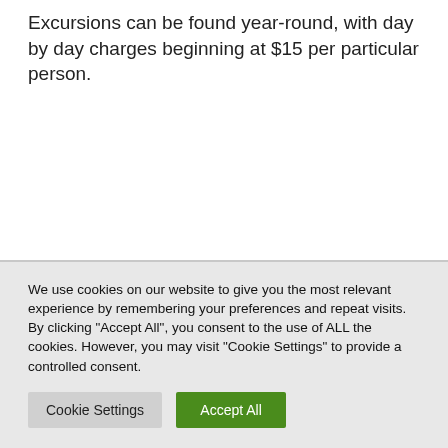Excursions can be found year-round, with day by day charges beginning at $15 per particular person.
We use cookies on our website to give you the most relevant experience by remembering your preferences and repeat visits. By clicking "Accept All", you consent to the use of ALL the cookies. However, you may visit "Cookie Settings" to provide a controlled consent.